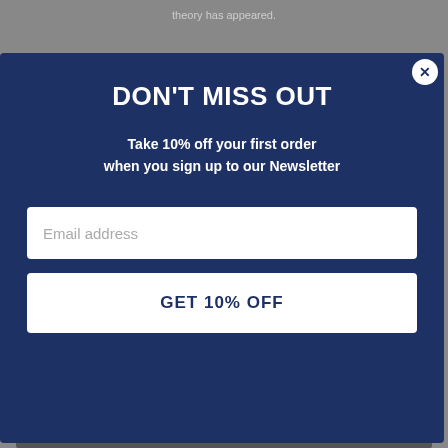theory has appeared.
[Figure (screenshot): Newsletter signup modal popup with dark navy blue background. Title: DON'T MISS OUT. Subtitle: Take 10% off your first order when you sign up to our Newsletter. Email address input field. GET 10% OFF button. Close (X) button in top right corner.]
[Figure (photo): Partial photo visible at bottom of page behind modal overlay.]